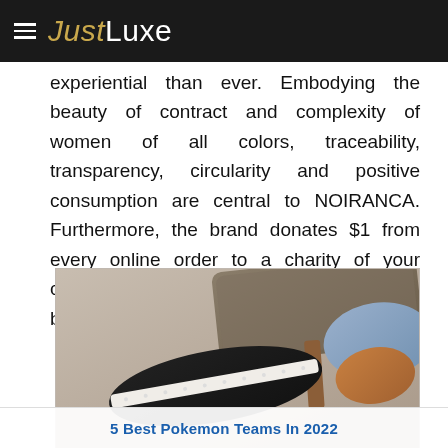JustLuxe
experiential than ever. Embodying the beauty of contract and complexity of women of all colors, traceability, transparency, circularity and positive consumption are central to NOIRANCA. Furthermore, the brand donates $1 from every online order to a charity of your choice, furthering their commitment to give back.
[Figure (photo): Close-up photo of a person wearing a black leather sneaker/flat shoe with white sole, resting on a wooden chair with a grey upholstered back. The person is wearing light denim jeans and has brown skin visible at the ankle area.]
5 Best Pokemon Teams In 2022